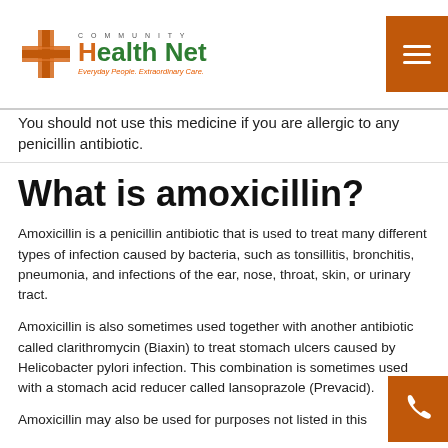Community Health Net — Everyday People. Extraordinary Care.
You should not use this medicine if you are allergic to any penicillin antibiotic.
What is amoxicillin?
Amoxicillin is a penicillin antibiotic that is used to treat many different types of infection caused by bacteria, such as tonsillitis, bronchitis, pneumonia, and infections of the ear, nose, throat, skin, or urinary tract.
Amoxicillin is also sometimes used together with another antibiotic called clarithromycin (Biaxin) to treat stomach ulcers caused by Helicobacter pylori infection. This combination is sometimes used with a stomach acid reducer called lansoprazole (Prevacid).
Amoxicillin may also be used for purposes not listed in this